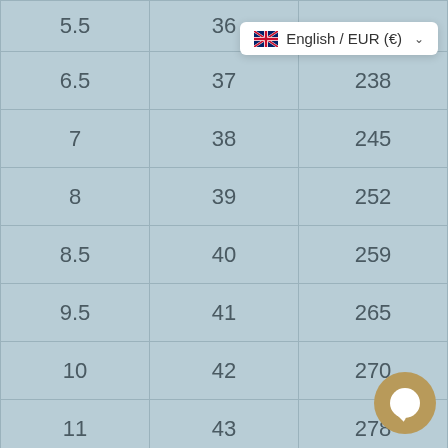| 5.5 | 36 |  |
| 6.5 | 37 | 238 |
| 7 | 38 | 245 |
| 8 | 39 | 252 |
| 8.5 | 40 | 259 |
| 9.5 | 41 | 265 |
| 10 | 42 | 270 |
| 11 | 43 | 278 |